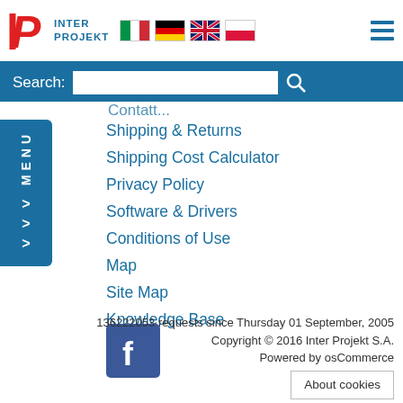[Figure (logo): Inter Projekt logo with red italic IP letters and blue INTER PROJEKT text]
[Figure (illustration): Italian, German, UK, and Polish flag icons]
[Figure (illustration): Hamburger menu icon (three horizontal blue lines)]
Search:
Shipping & Returns
Shipping Cost Calculator
Privacy Policy
Software & Drivers
Conditions of Use
Map
Site Map
Knowledge Base
RSS
[Figure (logo): Facebook icon - blue square with white f letter]
136222053 requests since Thursday 01 September, 2005
Copyright © 2016 Inter Projekt S.A.
Powered by osCommerce
About cookies